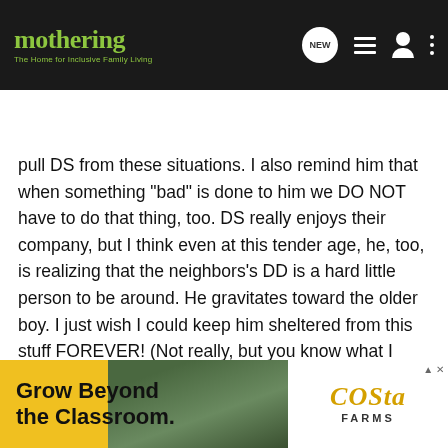mothering — The Home for Inclusive Family Living
Search Community
pull DS from these situations. I also remind him that when something "bad" is done to him we DO NOT have to do that thing, too. DS really enjoys their company, but I think even at this tender age, he, too, is realizing that the neighbors's DD is a hard little person to be around. He gravitates toward the older boy. I just wish I could keep him sheltered from this stuff FOREVER! (Not really, but you know what I mean).
And thank you, Eustacia. We LOVE our neighbors, too. It is the first neighbor situation that we've ever had like this. Of course, we've always been friendly with our past neighbors, but this is like the "old times" when I was growing up. The kids play, we bring each other food, sometimes eat together, watch our for each oth... only still a little g... ps
[Figure (advertisement): Costa Farms advertisement: 'Grow Beyond the Classroom' with yellow background, photo of person holding plant, and Costa Farms logo]